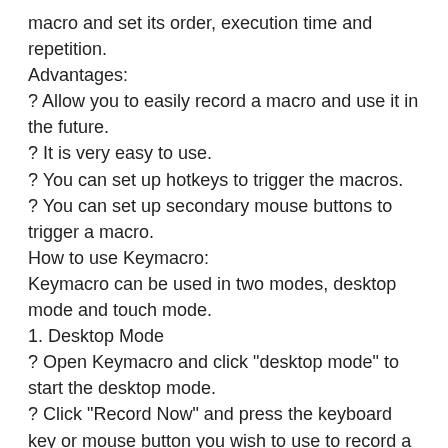macro and set its order, execution time and repetition.
Advantages:
? Allow you to easily record a macro and use it in the future.
? It is very easy to use.
? You can set up hotkeys to trigger the macros.
? You can set up secondary mouse buttons to trigger a macro.
How to use Keymacro:
Keymacro can be used in two modes, desktop mode and touch mode.
1. Desktop Mode
? Open Keymacro and click "desktop mode" to start the desktop mode.
? Click "Record Now" and press the keyboard key or mouse button you wish to use to record a macro.
? Click "Save" to record the keyboard keystroke or mouse click.
? Click "Apply" to bind the keyboard keystroke or mouse